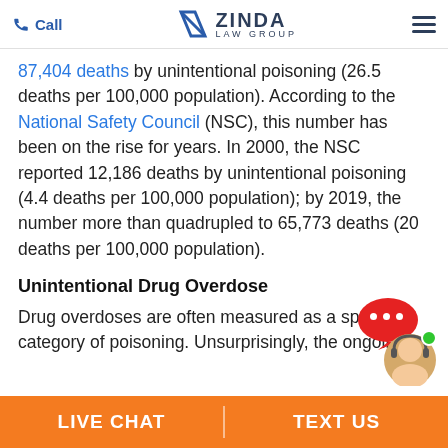Call | Zinda Law Group | [menu]
87,404 deaths by unintentional poisoning (26.5 deaths per 100,000 population). According to the National Safety Council (NSC), this number has been on the rise for years. In 2000, the NSC reported 12,186 deaths by unintentional poisoning (4.4 deaths per 100,000 population); by 2019, the number more than quadrupled to 65,773 deaths (20 deaths per 100,000 population).
Unintentional Drug Overdose
Drug overdoses are often measured as a specific category of poisoning. Unsurprisingly, the ongoing
LIVE CHAT | TEXT US